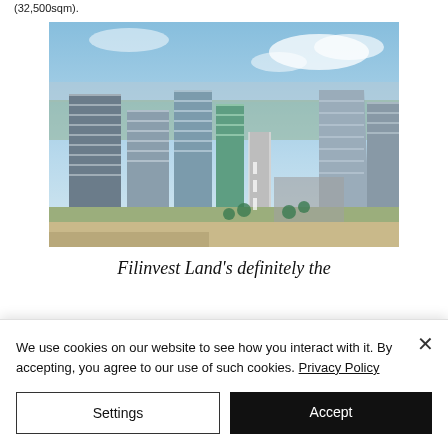(32,500sqm).
[Figure (photo): Aerial view of Filinvest City, showing modern high-rise office and commercial buildings along wide boulevards, with a dense urban skyline in the background under a partly cloudy sky.]
Filinvest Land's definitely the
We use cookies on our website to see how you interact with it. By accepting, you agree to our use of such cookies. Privacy Policy
Settings
Accept